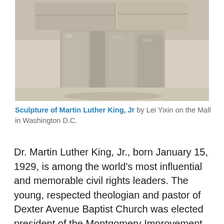[Figure (photo): Partial view of a large stone sculpture of Martin Luther King Jr., showing the lower torso and robe, carved in light gray granite, situated on a pale sandy or marble surface.]
Sculpture of Martin Luther King, Jr by Lei Yixin on the Mall in Washington D.C.
Dr. Martin Luther King, Jr., born January 15, 1929, is among the world’s most influential and memorable civil rights leaders. The young, respected theologian and pastor of Dexter Avenue Baptist Church was elected president of the Montgomery Improvement Association in late 1955, which ran the bus boycott following Rosa Park’s refusal to move to the back of a segregated bus earlier that year. King proved to be a charismatic and eloquent leader and soon moved to the forefront of the larger